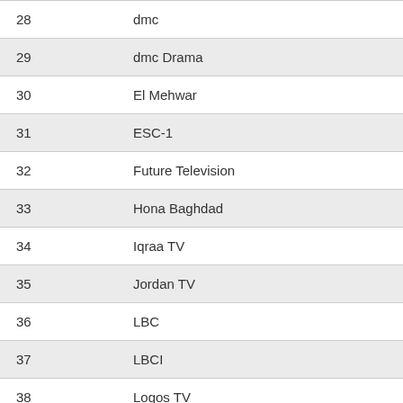| # | Channel |
| --- | --- |
| 28 | dmc |
| 29 | dmc Drama |
| 30 | El Mehwar |
| 31 | ESC-1 |
| 32 | Future Television |
| 33 | Hona Baghdad |
| 34 | Iqraa TV |
| 35 | Jordan TV |
| 36 | LBC |
| 37 | LBCI |
| 38 | Logos TV |
| 39 | MBC |
| 40 | MBC 2 |